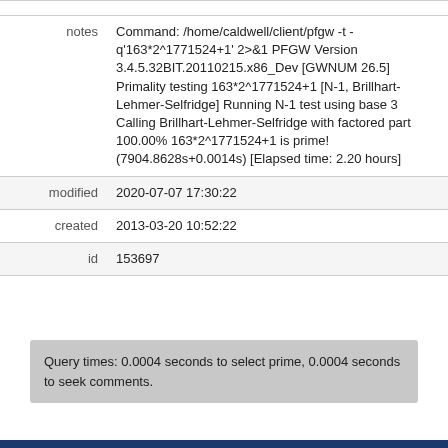| field | value |
| --- | --- |
| notes | Command: /home/caldwell/client/pfgw -t -q'163*2^1771524+1' 2>&1 PFGW Version 3.4.5.32BIT.20110215.x86_Dev [GWNUM 26.5] Primality testing 163*2^1771524+1 [N-1, Brillhart-Lehmer-Selfridge] Running N-1 test using base 3 Calling Brillhart-Lehmer-Selfridge with factored part 100.00% 163*2^1771524+1 is prime! (7904.8628s+0.0014s) [Elapsed time: 2.20 hours] |
| modified | 2020-07-07 17:30:22 |
| created | 2013-03-20 10:52:22 |
| id | 153697 |
Query times: 0.0004 seconds to select prime, 0.0004 seconds to seek comments.